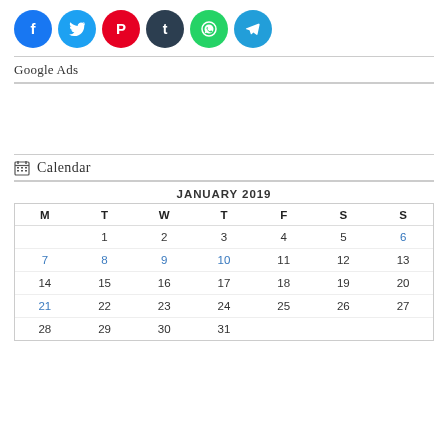[Figure (infographic): Row of 6 social media icon circles: Facebook (blue), Twitter (blue), Pinterest (red), Tumblr (dark teal), WhatsApp (green), Telegram (blue)]
Google Ads
📅 Calendar
| M | T | W | T | F | S | S |
| --- | --- | --- | --- | --- | --- | --- |
|  | 1 | 2 | 3 | 4 | 5 | 6 |
| 7 | 8 | 9 | 10 | 11 | 12 | 13 |
| 14 | 15 | 16 | 17 | 18 | 19 | 20 |
| 21 | 22 | 23 | 24 | 25 | 26 | 27 |
| 28 | 29 | 30 | 31 |  |  |  |